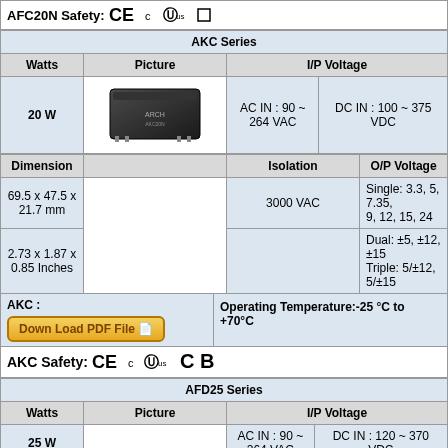AFC20N Safety: CE c UL us □
| AKC Series |  |  |  |
| --- | --- | --- | --- |
| Watts | Picture | I/P Voltage |  |
| 20 W | [image] | AC IN : 90 ~ 264 VAC | DC IN : 100 ~ 375 VDC |
| Dimension |  | Isolation | O/P Voltage |
| 69.5 x 47.5 x 21.7 mm |  | 3000 VAC | Single: 3.3, 5, 7.35, 9, 12, 15, 24 |
| 2.73 x 1.87 x 0.85 Inches |  |  | Dual: ±5, ±12, ±15
Triple: 5/±12, 5/±15 |
AKC : Operating Temperature:-25 °C to +70°C
Down Load PDF File
AKC Safety: CE c UL us C B
| AFD25 Series |  |  |  |
| --- | --- | --- | --- |
| Watts | Picture | I/P Voltage |  |
| 25 W | [image] | AC IN : 90 ~ 264 VAC | DC IN : 120 ~ 370 VDC |
| Dimension |  | Isolation | O/P Voltage |
| 52.5 x 27.5 x 23.5 mm |  | 3000 VAC | Single: 5, 12, 15, 24 |
| 2.07 x 1.08 x 0.93 Inches |  |  |  |